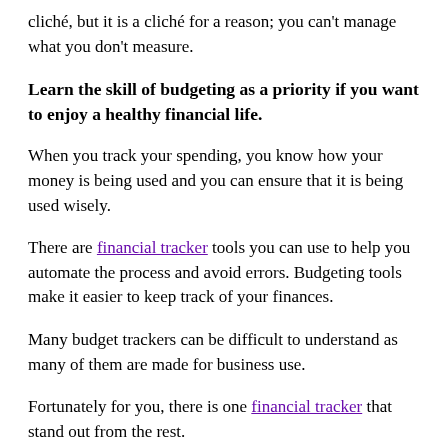cliché, but it is a cliché for a reason; you can't manage what you don't measure.
Learn the skill of budgeting as a priority if you want to enjoy a healthy financial life.
When you track your spending, you know how your money is being used and you can ensure that it is being used wisely.
There are financial tracker tools you can use to help you automate the process and avoid errors. Budgeting tools make it easier to keep track of your finances.
Many budget trackers can be difficult to understand as many of them are made for business use.
Fortunately for you, there is one financial tracker that stand out from the rest.